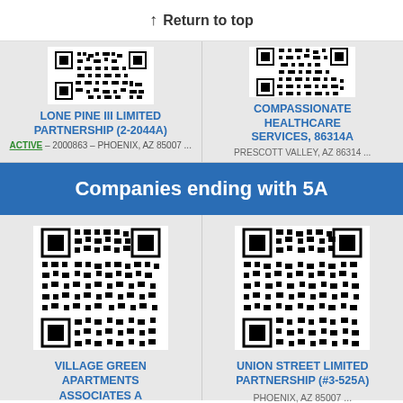↑ Return to top
LONE PINE III LIMITED PARTNERSHIP (2-2044A)
ACTIVE – 2000863 – PHOENIX, AZ 85007 ...
COMPASSIONATE HEALTHCARE SERVICES, 86314A
PRESCOTT VALLEY, AZ 86314 ...
Companies ending with 5A
[Figure (other): QR code for Village Green Apartments Associates A California (#3-635A)]
VILLAGE GREEN APARTMENTS ASSOCIATES A CALIFORNIA (#3-635A)
[Figure (other): QR code for Union Street Limited Partnership (#3-525A)]
UNION STREET LIMITED PARTNERSHIP (#3-525A)
PHOENIX, AZ 85007 ...